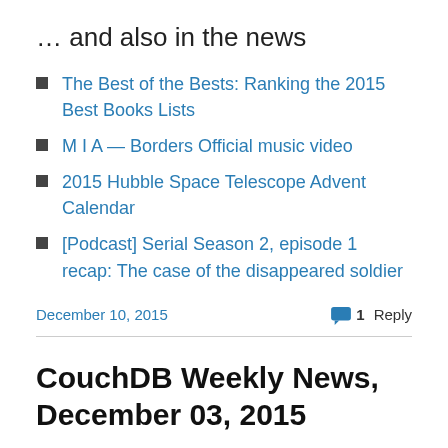… and also in the news
The Best of the Bests: Ranking the 2015 Best Books Lists
M I A — Borders Official music video
2015 Hubble Space Telescope Advent Calendar
[Podcast] Serial Season 2, episode 1 recap: The case of the disappeared soldier
December 10, 2015    1 Reply
CouchDB Weekly News, December 03, 2015